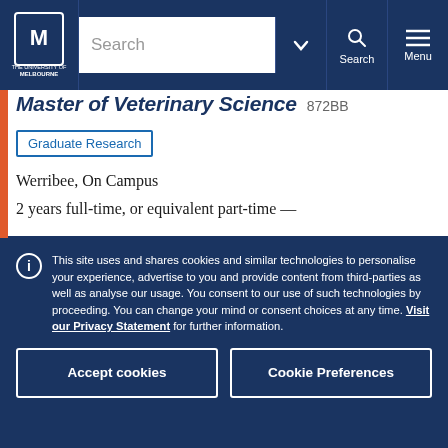University of Melbourne – navigation bar with search
Master of Veterinary Science 872BB
Graduate Research
Werribee, On Campus
2 years full-time, or equivalent part-time —
This site uses and shares cookies and similar technologies to personalise your experience, advertise to you and provide content from third-parties as well as analyse our usage. You consent to our use of such technologies by proceeding. You can change your mind or consent choices at any time. Visit our Privacy Statement for further information.
Accept cookies
Cookie Preferences